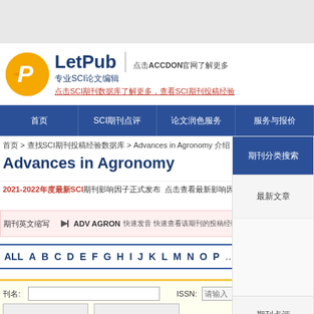[Figure (logo): LetPub logo with orange circle containing white P and text LetPub 专业SCI论文编辑]
点击ACCDON官网了解更多
点击SCI期刊数据库了解更多，查看SCI期刊投稿经验
首页  |  SCI期刊点评与投稿经验  |  论文润色服务  |  服务与报价
首页 > 查找SCI期刊投稿经验数据库 > Advances in Agronomy 介绍
期刊分类搜索
Advances in Agronomy
2021-2022年度最新SCI期刊影响因子正式发布 点击查看最新影响因子、分区和审稿速度 查询 及投稿经验
期刊英文缩写  ADV AGRON 快速发音 快速查看该期刊的投稿经验、审稿速度、影响因子和分区
ALL A B C D E F G H I J K L M N O P  S
刊名: ISSN:
期刊分类搜索
最新文章
期刊点评